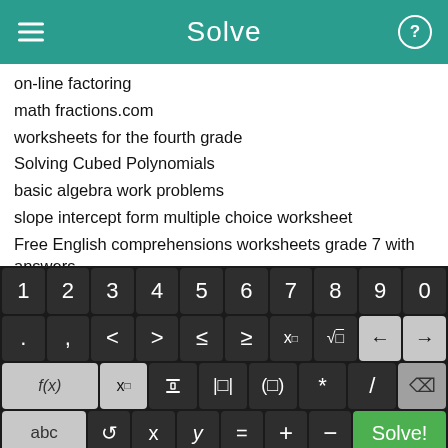Solve
on-line factoring
math fractions.com
worksheets for the fourth grade
Solving Cubed Polynomials
basic algebra work problems
slope intercept form multiple choice worksheet
Free English comprehensions worksheets grade 7 with answers
Year 7 fraction equations
subtracting square root algebra solving for x
free worksheets reading problem solving sequencing
[Figure (screenshot): Virtual math keyboard with number row 1-0, symbol row with . , < > ≤ ≥ x^□ √□ and arrow keys, function row with f(x) x□ fraction absolute-value parentheses * / and delete, and bottom row with abc rotate x y = + - and Solve! button]